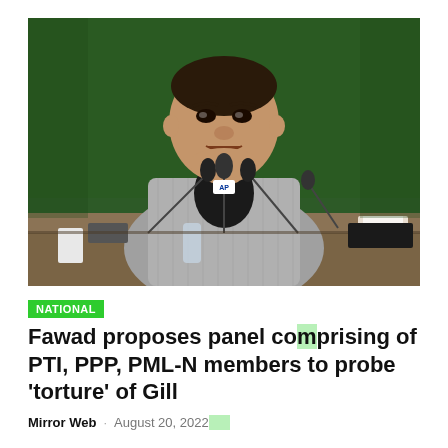[Figure (photo): A man in a grey checked blazer and black shirt sits at a press conference table with multiple microphones including AP and other news agency branded mics. The background shows a green artificial grass wall. He appears to be speaking.]
NATIONAL
Fawad proposes panel comprising of PTI, PPP, PML-N members to probe 'torture' of Gill
Mirror Web · August 20, 2022